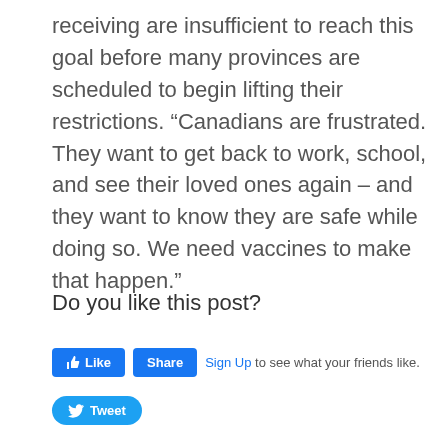receiving are insufficient to reach this goal before many provinces are scheduled to begin lifting their restrictions. “Canadians are frustrated. They want to get back to work, school, and see their loved ones again – and they want to know they are safe while doing so. We need vaccines to make that happen.”
Do you like this post?
[Figure (screenshot): Facebook Like and Share buttons followed by 'Sign Up to see what your friends like.' text, and a Twitter Tweet button below.]